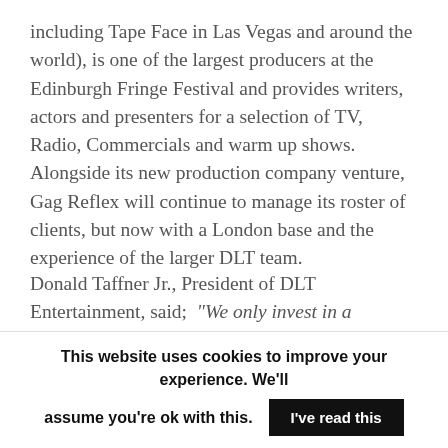including Tape Face in Las Vegas and around the world), is one of the largest producers at the Edinburgh Fringe Festival and provides writers, actors and presenters for a selection of TV, Radio, Commercials and warm up shows. Alongside its new production company venture, Gag Reflex will continue to manage its roster of clients, but now with a London base and the experience of the larger DLT team.
Donald Taffner Jr., President of DLT Entertainment, said; “We only invest in a company where we admire the team and like
This website uses cookies to improve your experience. We’ll assume you’re ok with this. I’ve read this